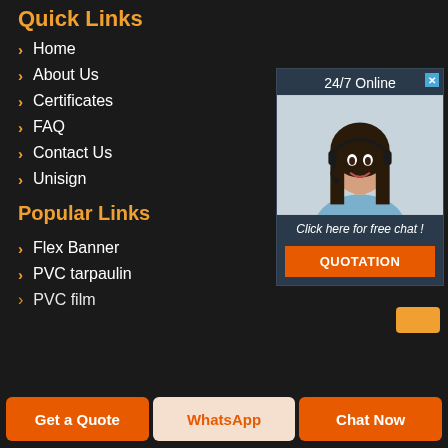Quick Links
Home
About Us
Certificates
FAQ
Contact Us
Unisign
[Figure (photo): Chat popup with 24/7 Online header, photo of a woman with headset smiling, 'Click here for free chat!' text, and an orange QUOTATION button]
Popular Links
Flex Banner
PVC tarpaulin
PVC film
Get a Quote
WhatsApp
Chat Now